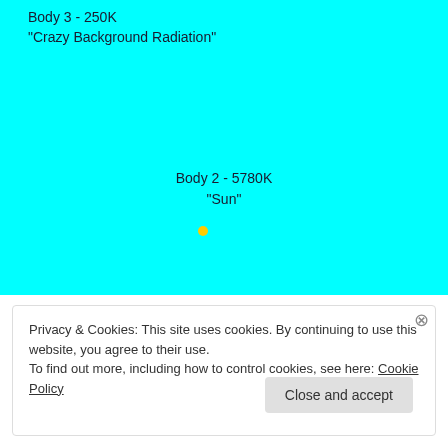[Figure (other): Simulation or visualization area with cyan background showing two labeled bodies: Body 3 at 250K called 'Crazy Background Radiation' (top-left) and Body 2 at 5780K called 'Sun' (center, with a small yellow dot representing the Sun).]
Privacy & Cookies: This site uses cookies. By continuing to use this website, you agree to their use. To find out more, including how to control cookies, see here: Cookie Policy